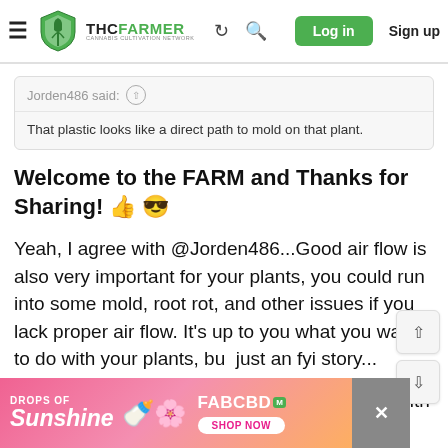THC FARMER - Cannabis Cultivation Network | Log in | Sign up
Jorden486 said: That plastic looks like a direct path to mold on that plant.
Welcome to the FARM and Thanks for Sharing! 👍 😎
Yeah, I agree with @Jorden486...Good air flow is also very important for your plants, you could run into some mold, root rot, and other issues if you lack proper air flow. It's up to you what you want to do with your plants, but just an fyi story...
We knew of a Grower that had about 3 acres with 300
[Figure (infographic): Pink advertisement banner: DROPS OF Sunshine - FABCBD with SHOP NOW button]